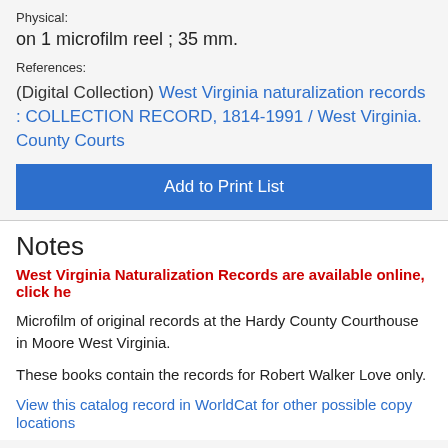Physical:
on 1 microfilm reel ; 35 mm.
References:
(Digital Collection) West Virginia naturalization records : COLLECTION RECORD, 1814-1991 / West Virginia. County Courts
Add to Print List
Notes
West Virginia Naturalization Records are available online, click he
Microfilm of original records at the Hardy County Courthouse in Moore West Virginia.
These books contain the records for Robert Walker Love only.
View this catalog record in WorldCat for other possible copy locations